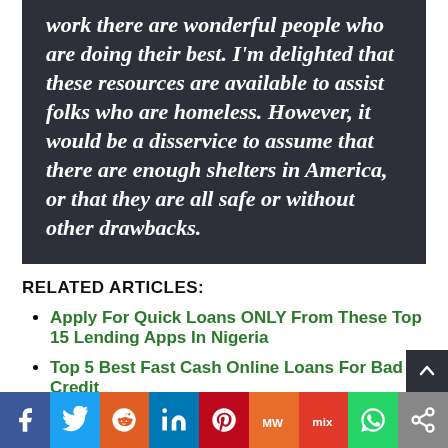work there are wonderful people who are doing their best. I'm delighted that these resources are available to assist folks who are homeless. However, it would be a disservice to assume that there are enough shelters in America, or that they are all safe or without other drawbacks.
RELATED ARTICLES:
Apply For Quick Loans ONLY From These Top 15 Lending Apps In Nigeria
Top 5 Best Fast Cash Online Loans For Bad Credit